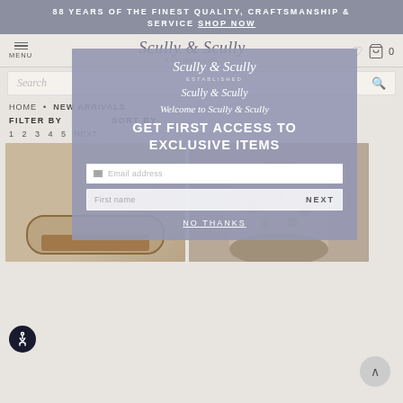88 YEARS OF THE FINEST QUALITY, CRAFTSMANSHIP & SERVICE SHOP NOW
[Figure (screenshot): Scully & Scully logo with script text in navigation bar]
Search
[Figure (screenshot): Modal popup overlay with Scully & Scully branding, Welcome to Scully & Scully text, GET FIRST ACCESS TO EXCLUSIVE ITEMS headline, email input, first name input, NEXT button, and NO THANKS link]
HOME • NEW ARRIVALS
FILTER BY    SORT BY
1  2  3  4  5  NEXT
[Figure (photo): Product thumbnail showing a brown leather belt on light background]
[Figure (photo): Product thumbnail showing a decorative cylindrical container with floral pattern]